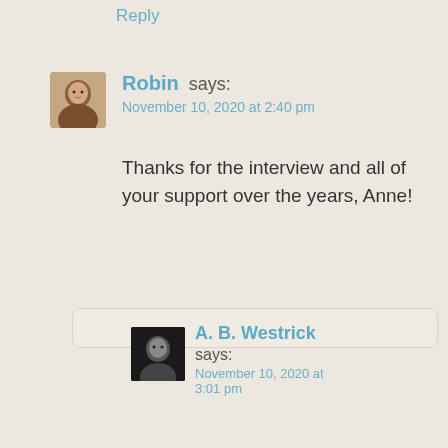Reply
Robin says:
November 10, 2020 at 2:40 pm
Thanks for the interview and all of your support over the years, Anne!
Reply →
A. B. Westrick says:
November 10, 2020 at 3:01 pm